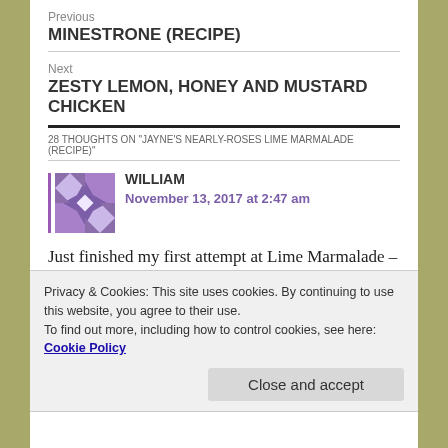Previous
MINESTRONE (RECIPE)
Next
ZESTY LEMON, HONEY AND MUSTARD CHICKEN
28 THOUGHTS ON "JAYNE'S NEARLY-ROSES LIME MARMALADE (RECIPE)"
WILLIAM
November 13, 2017 at 2:47 am
Just finished my first attempt at Lime Marmalade – can't believe how effective the natural pectin is! Got
Privacy & Cookies: This site uses cookies. By continuing to use this website, you agree to their use.
To find out more, including how to control cookies, see here: Cookie Policy
Close and accept